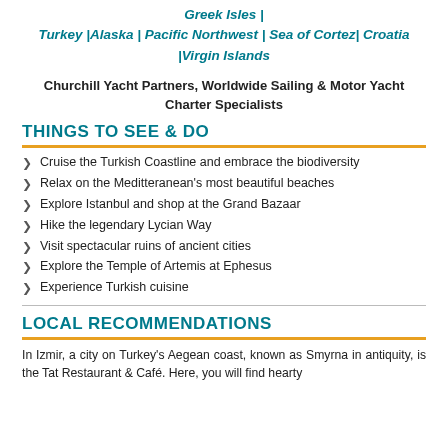Greek Isles | Turkey |Alaska | Pacific Northwest | Sea of Cortez| Croatia |Virgin Islands
Churchill Yacht Partners, Worldwide Sailing & Motor Yacht Charter Specialists
THINGS TO SEE & DO
Cruise the Turkish Coastline and embrace the biodiversity
Relax on the Meditteranean's most beautiful beaches
Explore Istanbul and shop at the Grand Bazaar
Hike the legendary Lycian Way
Visit spectacular ruins of ancient cities
Explore the Temple of Artemis at Ephesus
Experience Turkish cuisine
LOCAL RECOMMENDATIONS
In Izmir, a city on Turkey's Aegean coast, known as Smyrna in antiquity, is the Tat Restaurant & Café. Here, you will find hearty local cuisine that you can enjoy as you gaze out over the water.